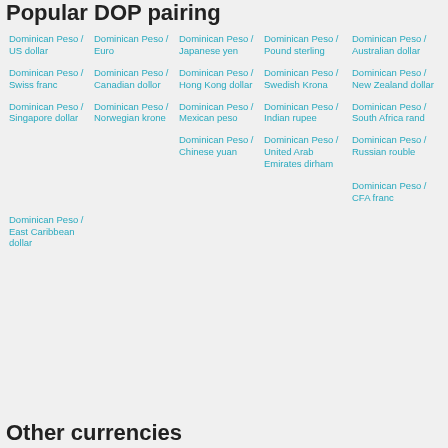Popular DOP pairing
Dominican Peso / US dollar
Dominican Peso / Euro
Dominican Peso / Japanese yen
Dominican Peso / Pound sterling
Dominican Peso / Australian dollar
Dominican Peso / Swiss franc
Dominican Peso / Canadian dollor
Dominican Peso / Hong Kong dollar
Dominican Peso / Swedish Krona
Dominican Peso / New Zealand dollar
Dominican Peso / Singapore dollar
Dominican Peso / Norwegian krone
Dominican Peso / Mexican peso
Dominican Peso / Indian rupee
Dominican Peso / South Africa rand
Dominican Peso / Chinese yuan
Dominican Peso / United Arab Emirates dirham
Dominican Peso / Russian rouble
Dominican Peso / CFA franc
Dominican Peso / East Caribbean dollar
Other currencies